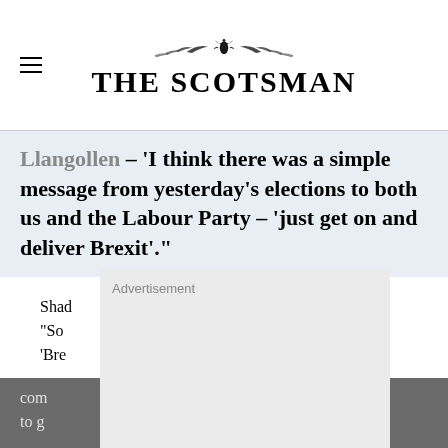THE SCOTSMAN
Llangollen – 'I think there was a simple message from yesterday's elections to both us and the Labour Party – 'just get on and deliver Brexit'.'
[Figure (other): Advertisement placeholder box]
Shadow [Secretary] added: "So [the message is] 'Bre[xit'.]
And [Conservative] [r Party] [not a clear] com[plete] [ed] to g[et on]